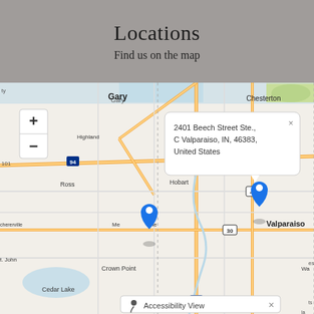Locations
Find us on the map
[Figure (map): Interactive street map showing northwest Indiana area including Gary, Hobart, Valparaiso, Crown Point, Cedar Lake, Chesterton, Ross, and other cities. Two blue map pin markers are visible — one near Merrillville/Crown Point area and one near Valparaiso. A popup callout box shows the address: 2401 Beech Street Ste., C Valparaiso, IN, 46383, United States. Map zoom controls (+/-) visible top-left. Accessibility View button visible at bottom.]